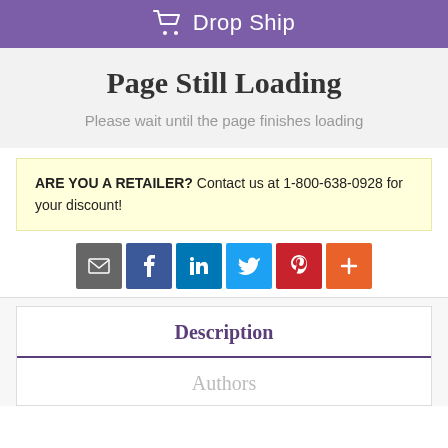[Figure (other): Purple 'Drop Ship' button/bar with cart icon and white text]
Page Still Loading
Please wait until the page finishes loading
ARE YOU A RETAILER? Contact us at 1-800-638-0928 for your discount!
[Figure (infographic): Row of social share buttons: email (gray), Facebook (blue), LinkedIn (blue), Twitter (light blue), Pinterest (red), More (orange-red)]
Description
Authors